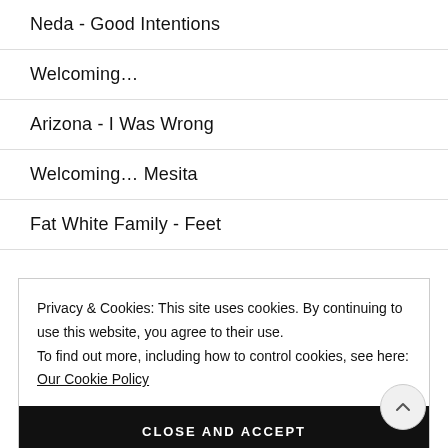Neda - Good Intentions
Welcoming…
Arizona - I Was Wrong
Welcoming… Mesita
Fat White Family - Feet
Privacy & Cookies: This site uses cookies. By continuing to use this website, you agree to their use. To find out more, including how to control cookies, see here: Our Cookie Policy
CLOSE AND ACCEPT